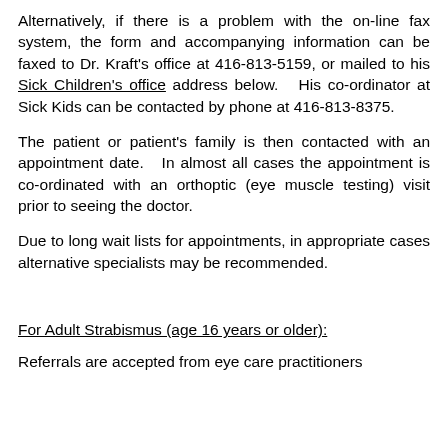Alternatively, if there is a problem with the on-line fax system, the form and accompanying information can be faxed to Dr. Kraft's office at 416-813-5159, or mailed to his Sick Children's office address below. His co-ordinator at Sick Kids can be contacted by phone at 416-813-8375.
The patient or patient's family is then contacted with an appointment date. In almost all cases the appointment is co-ordinated with an orthoptic (eye muscle testing) visit prior to seeing the doctor.
Due to long wait lists for appointments, in appropriate cases alternative specialists may be recommended.
For Adult Strabismus (age 16 years or older):
Referrals are accepted from eye care practitioners